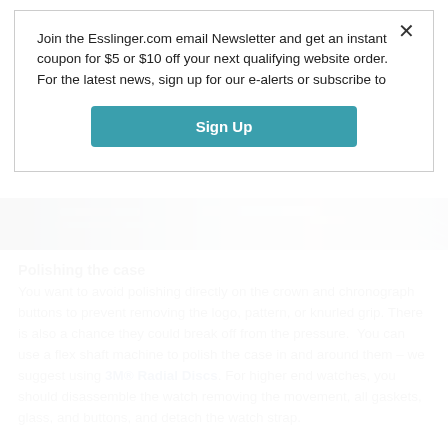Join the Esslinger.com email Newsletter and get an instant coupon for $5 or $10 off your next qualifying website order. For the latest news, sign up for our e-alerts or subscribe to
[Figure (other): Sign Up button (teal/cyan colored)]
[Figure (photo): A close-up photo strip showing watch tools or parts on a textured surface]
Polishing the case
You want to avoid polishing directly on the crown and chronograph buttons to prevent removing the logo, pattern, or knurled grip. There is also a chance they could break off from the pressure. You can use a flex shaft machine to polish the case in and around them – we suggest using 3M® Radial Discs. For higher end watches, you should disassemble the watch removing the movement, all gaskets, glass, and buttons, and detach the watch strap.